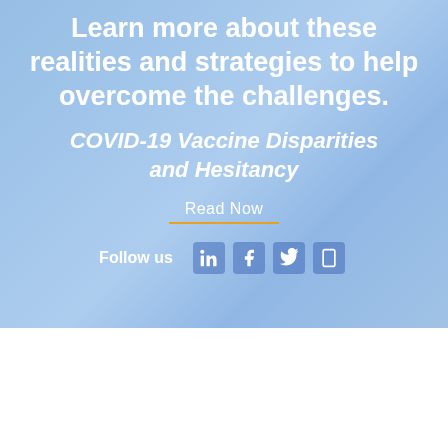Learn more about these realities and strategies to help overcome the challenges.
COVID-19 Vaccine Disparities and Hesitancy
Read Now
Follow us
2022 © TeamHealth   Terms and conditions   Privacy